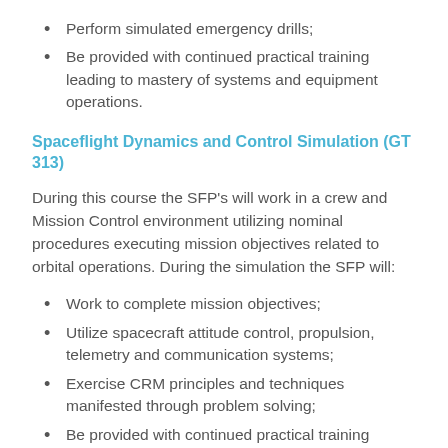Perform simulated emergency drills;
Be provided with continued practical training leading to mastery of systems and equipment operations.
Spaceflight Dynamics and Control Simulation (GT 313)
During this course the SFP’s will work in a crew and Mission Control environment utilizing nominal procedures executing mission objectives related to orbital operations. During the simulation the SFP will:
Work to complete mission objectives;
Utilize spacecraft attitude control, propulsion, telemetry and communication systems;
Exercise CRM principles and techniques manifested through problem solving;
Be provided with continued practical training